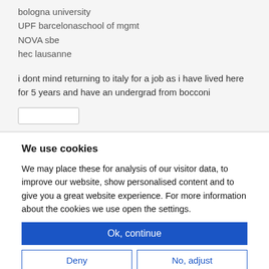bologna university
UPF barcelonaschool of mgmt
NOVA sbe
hec lausanne
i dont mind returning to italy for a job as i have lived here for 5 years and have an undergrad from bocconi
We use cookies
We may place these for analysis of our visitor data, to improve our website, show personalised content and to give you a great website experience. For more information about the cookies we use open the settings.
Ok, continue
Deny
No, adjust